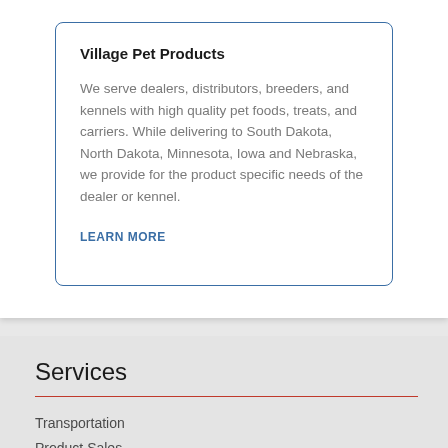Village Pet Products
We serve dealers, distributors, breeders, and kennels with high quality pet foods, treats, and carriers. While delivering to South Dakota, North Dakota, Minnesota, Iowa and Nebraska, we provide for the product specific needs of the dealer or kennel.
LEARN MORE
Services
Transportation
Product Sales